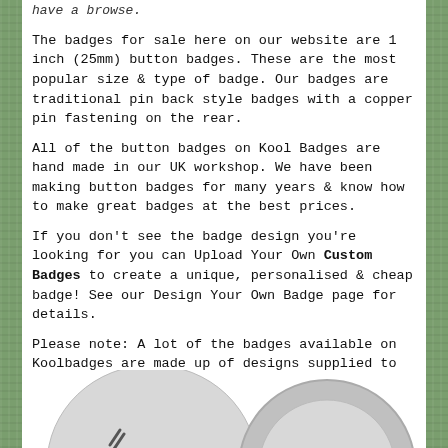have a browse.
The badges for sale here on our website are 1 inch (25mm) button badges. These are the most popular size & type of badge. Our badges are traditional pin back style badges with a copper pin fastening on the rear.
All of the button badges on Kool Badges are hand made in our UK workshop. We have been making button badges for many years & know how to make great badges at the best prices.
If you don't see the badge design you're looking for you can Upload Your Own Custom Badges to create a unique, personalised & cheap badge! See our Design Your Own Badge page for details.
Please note: A lot of the badges available on Koolbadges are made up of designs supplied to us by customers. Therefore it is not always possible to check the origins of individual designs. If you feel any badge infringes copyright please email us and we will remove any offending badges within 24 hours. We strive to ensure that all designs do not infringe copyright, and will do our utmost to rectify any instances of infringement.
Hand Made in the UK
[Figure (illustration): Two circular button badges shown from the front and back, partially visible at the bottom of the page.]